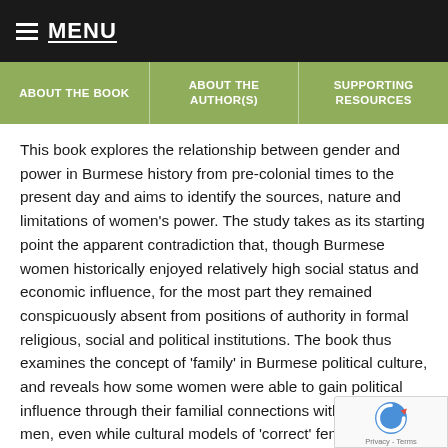MENU
ABOUT THE BOOK | ABOUT THE AUTHOR(S) | SUPPORTING RESOURCES
This book explores the relationship between gender and power in Burmese history from pre-colonial times to the present day and aims to identify the sources, nature and limitations of women’s power. The study takes as its starting point the apparent contradiction that, though Burmese women historically enjoyed relatively high social status and economic influence, for the most part they remained conspicuously absent from positions of authority in formal religious, social and political institutions. The book thus examines the concept of ‘family’ in Burmese political culture, and reveals how some women were able to gain political influence through their familial connections with powerful men, even while cultural models of ‘correct’ female behaviour prevented most women from attaining official